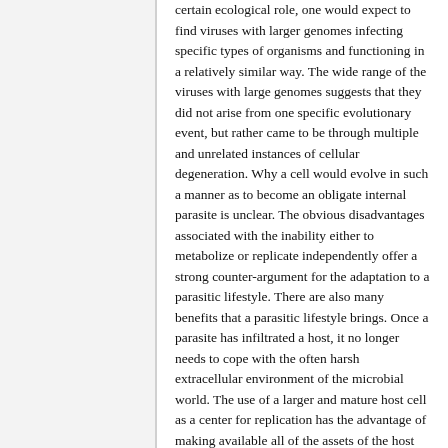certain ecological role, one would expect to find viruses with larger genomes infecting specific types of organisms and functioning in a relatively similar way. The wide range of the viruses with large genomes suggests that they did not arise from one specific evolutionary event, but rather came to be through multiple and unrelated instances of cellular degeneration. Why a cell would evolve in such a manner as to become an obligate internal parasite is unclear. The obvious disadvantages associated with the inability either to metabolize or replicate independently offer a strong counter-argument for the adaptation to a parasitic lifestyle. There are also many benefits that a parasitic lifestyle brings. Once a parasite has infiltrated a host, it no longer needs to cope with the often harsh extracellular environment of the microbial world. The use of a larger and mature host cell as a center for replication has the advantage of making available all of the assets of the host anatomy and not restricting the potential for